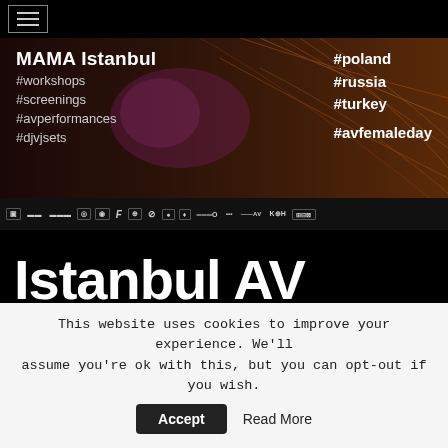[Figure (screenshot): Navigation bar with hamburger menu icon on black background]
[Figure (photo): MAMA Istanbul event banner with hashtags: #workshops #screenings #avperformances #djvjsets on left; #poland #russia #turkey #avfemaleday on right. Dark abstract visual background.]
[Figure (logo): Row of sponsor/partner logos on dark background]
Istanbul AV Residency 2018 #2 | LPM 2015 > 2018
This website uses cookies to improve your experience. We'll assume you're ok with this, but you can opt-out if you wish.
Accept   Read More